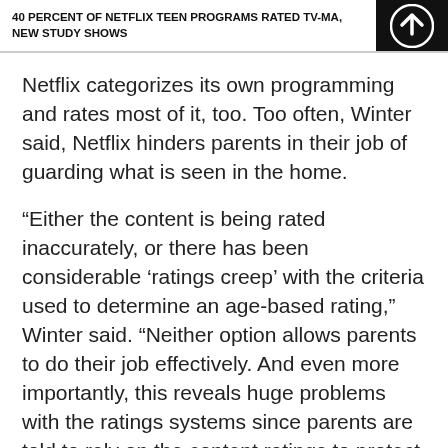40 PERCENT OF NETFLIX TEEN PROGRAMS RATED TV-MA, NEW STUDY SHOWS
Netflix categorizes its own programming and rates most of it, too. Too often, Winter said, Netflix hinders parents in their job of guarding what is seen in the home.
“Either the content is being rated inaccurately, or there has been considerable ‘ratings creep’ with the criteria used to determine an age-based rating,” Winter said. “Neither option allows parents to do their job effectively. And even more importantly, this reveals huge problems with the ratings systems since parents are told to rely on the content ratings to protect their children from explicit content.”